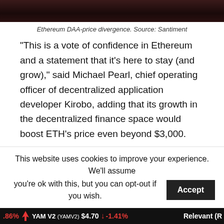[Figure (photo): Ethereum DAA-price divergence chart screenshot, dark background with red/orange elements]
Ethereum DAA-price divergence. Source: Santiment
“This is a vote of confidence in Ethereum and a statement that it’s here to stay (and grow),” said Michael Pearl, chief operating officer of decentralized application developer Kirobo, adding that its growth in the decentralized finance space would boost ETH’s price even beyond $3,000.
The views and opinions expressed here are solely those of the author and do not necessarily reflect the views of Cointelegraph.com. Every investment and trading move involves risk, you should conduct your own research when making a decision.
This website uses cookies to improve your experience. We’ll assume you’re ok with this, but you can opt-out if you wish. Accept
.86%   YAM v2 (YAMV2)  $4.70  ↓ -1.41%   Relevant (R